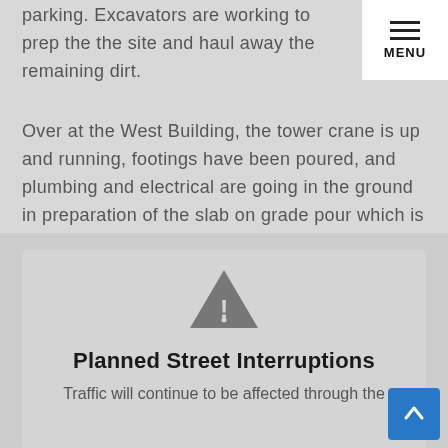parking. Excavators are working to prep the the site and haul away the remaining dirt.
[Figure (other): Hamburger menu icon with three horizontal lines and MENU label]
Over at the West Building, the tower crane is up and running, footings have been poured, and plumbing and electrical are going in the ground in preparation of the slab on grade pour which is scheduled for the second week of August.
[Figure (other): Warning triangle icon with exclamation mark]
Planned Street Interruptions
Traffic will continue to be affected through the
[Figure (other): Back to top arrow button in blue]